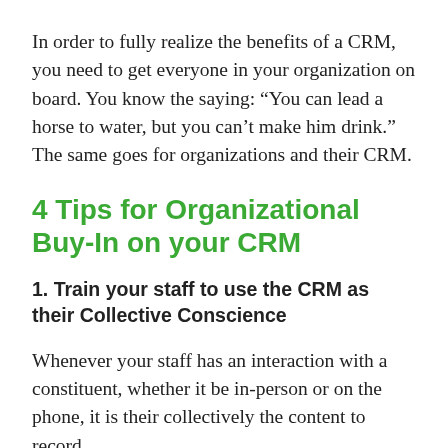In order to fully realize the benefits of a CRM, you need to get everyone in your organization on board. You know the saying: “You can lead a horse to water, but you can’t make him drink.” The same goes for organizations and their CRM.
4 Tips for Organizational Buy-In on your CRM
1. Train your staff to use the CRM as their Collective Conscience
Whenever your staff has an interaction with a constituent, whether it be in-person or on the phone, it is their collective conscience to record